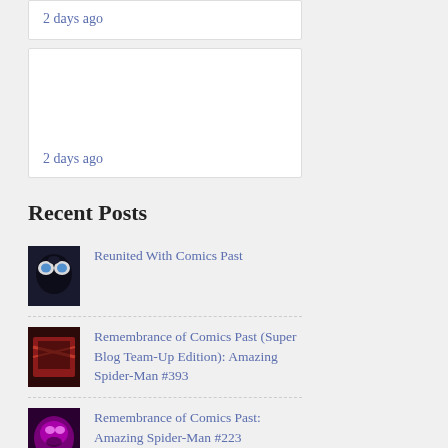2 days ago
2 days ago
Recent Posts
Reunited With Comics Past
Remembrance of Comics Past (Super Blog Team-Up Edition): Amazing Spider-Man #393
Remembrance of Comics Past: Amazing Spider-Man #223
Remembrance of Comics Past: